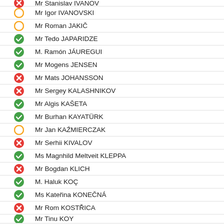Mr Stanislav IVANOV
Mr Igor IVANOVSKI
Mr Roman JAKIČ
Mr Tedo JAPARIDZE
M. Ramón JÁUREGUI
Mr Mogens JENSEN
Mr Mats JOHANSSON
Mr Sergey KALASHNIKOV
Mr Algis KAŠETA
Mr Burhan KAYATÜRK
Mr Jan KAŹMIERCZAK
Mr Serhii KIVALOV
Ms Magnhild Meltveit KLEPPA
Mr Bogdan KLICH
M. Haluk KOÇ
Ms Kateřina KONEČNÁ
Mr Rom KOSTŘICA
Mr Tinu KOY